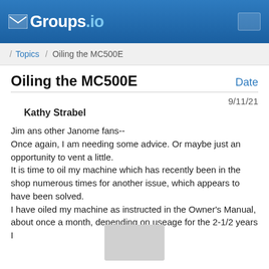Groups.io
/ Topics / Oiling the MC500E
Oiling the MC500E
Date
9/11/21
Kathy Strabel
Jim ans other Janome fans--
Once again, I am needing some advice. Or maybe just an opportunity to vent a little.
It is time to oil my machine which has recently been in the shop numerous times for another issue, which appears to have been solved.
I have oiled my machine as instructed in the Owner's Manual, about once a month, depending on useage for the 2-1/2 years I